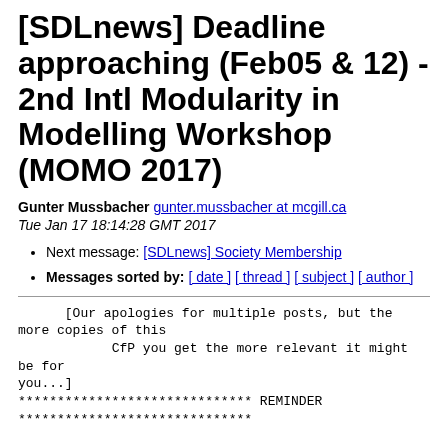[SDLnews] Deadline approaching (Feb05 & 12) - 2nd Intl Modularity in Modelling Workshop (MOMO 2017)
Gunter Mussbacher gunter.mussbacher at mcgill.ca
Tue Jan 17 18:14:28 GMT 2017
Next message: [SDLnews] Society Membership
Messages sorted by: [ date ] [ thread ] [ subject ] [ author ]
[Our apologies for multiple posts, but the more copies of this
            CfP you get the more relevant it might be for you...]
****************************** REMINDER
******************************